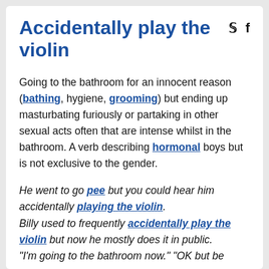Accidentally play the violin
Going to the bathroom for an innocent reason (bathing, hygiene, grooming) but ending up masturbating furiously or partaking in other sexual acts often that are intense whilst in the bathroom. A verb describing hormonal boys but is not exclusive to the gender.
He went to go pee but you could hear him accidentally playing the violin. Billy used to frequently accidentally play the violin but now he mostly does it in public. "I'm going to the bathroom now." "OK but be